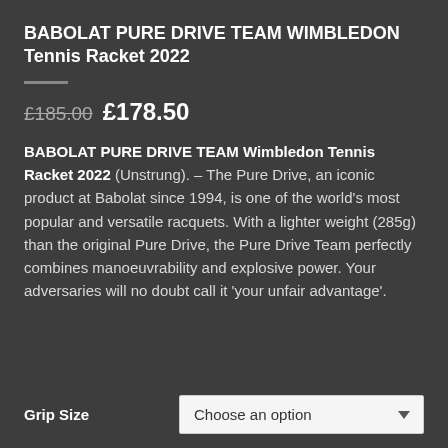BABOLAT PURE DRIVE TEAM WIMBLEDON Tennis Racket 2022
£185.00 £178.50
BABOLAT PURE DRIVE TEAM Wimbledon Tennis Racket 2022 (Unstrung). – The Pure Drive, an iconic product at Babolat since 1994, is one of the world's most popular and versatile racquets. With a lighter weight (285g) than the original Pure Drive, the Pure Drive Team perfectly combines manoeuvrability and explosive power. Your adversaries will no doubt call it 'your unfair advantage'.
Grip Size  Choose an option